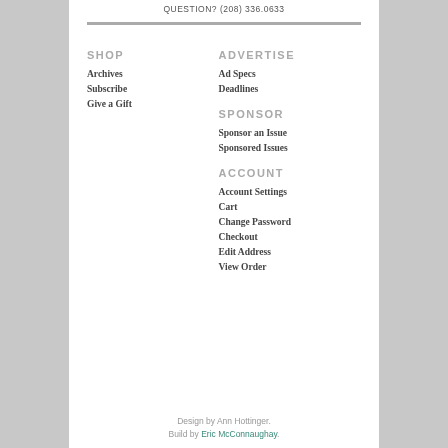QUESTION? (208) 336.0633
SHOP
Archives
Subscribe
Give a Gift
ADVERTISE
Ad Specs
Deadlines
SPONSOR
Sponsor an Issue
Sponsored Issues
ACCOUNT
Account Settings
Cart
Change Password
Checkout
Edit Address
View Order
Design by Ann Hottinger. Build by Eric McConnaughay.